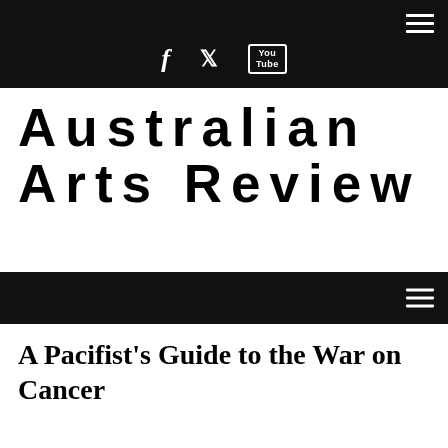Australian Arts Review
Australian Arts Review
A Pacifist's Guide to the War on Cancer